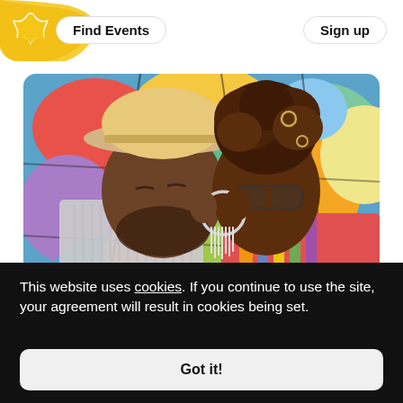[Figure (screenshot): Eventbrite-style website header with yellow paint splash, flower logo, Find Events button, and Sign up button]
[Figure (photo): Two people facing each other closely about to kiss, standing in front of a colorful stained-glass-style mural. The man on the left wears a straw hat and button shirt; the woman on the right has natural hair in an updo, hoop earrings, and a colorful striped top.]
This website uses cookies. If you continue to use the site, your agreement will result in cookies being set.
Got it!